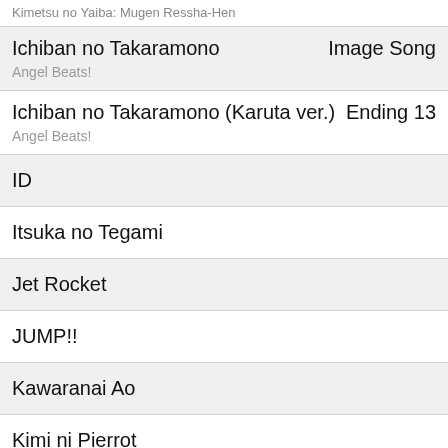Kimetsu no Yaiba: Mugen Ressha-Hen
Ichiban no Takaramono | Image Song | Angel Beats!
Ichiban no Takaramono (Karuta ver.) | Ending 13 | Angel Beats!
ID
Itsuka no Tegami
Jet Rocket
JUMP!!
Kawaranai Ao
Kimi ni Pierrot
Kimochi Factory
Kyomu